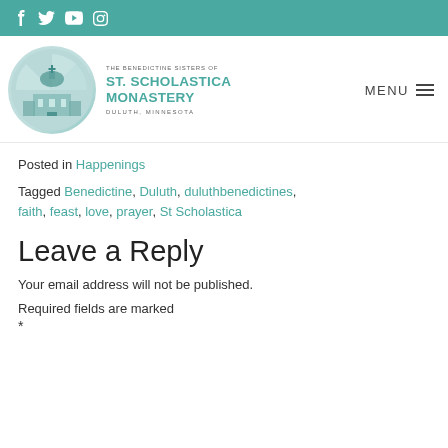Social media icons: f (Facebook), Twitter bird, YouTube, Instagram
[Figure (logo): The Benedictine Sisters of St. Scholastica Monastery, Duluth, Minnesota — circular logo with monastery building illustration in teal tones, alongside text]
Posted in Happenings
Tagged Benedictine, Duluth, duluthbenedictines, faith, feast, love, prayer, St Scholastica
Leave a Reply
Your email address will not be published.
Required fields are marked *